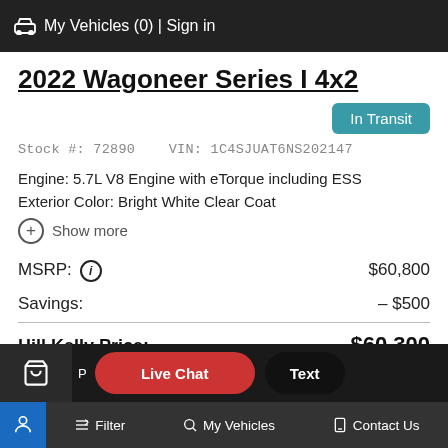🚗 My Vehicles (0) | Sign in
2022 Wagoneer Series I 4x2
In Transit
Stock #: 72890    VIN: 1C4SJUAT6NS202147
Engine: 5.7L V8 Engine with eTorque including ESS
Exterior Color: Bright White Clear Coat
Show more
| Item | Price |
| --- | --- |
| MSRP: | $60,800 |
| Savings: | – $500 |
| Hill Kelly Price: | $60,300 |
Filter  My Vehicles  Contact Us